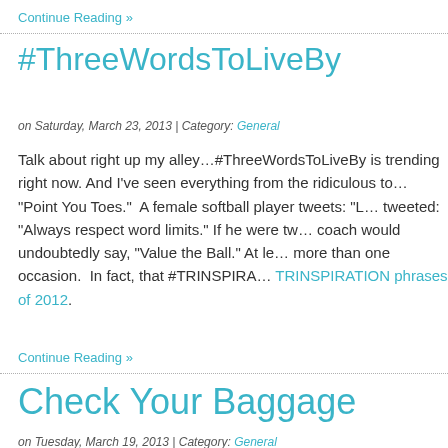Continue Reading »
#ThreeWordsToLiveBy
on Saturday, March 23, 2013 | Category: General
Talk about right up my alley…#ThreeWordsToLiveBy is trending right now. And I've seen everything from the ridiculous to… "Point You Toes."  A female softball player tweets: "L… tweeted: "Always respect word limits." If he were two… coach would undoubtedly say, "Value the Ball." At le… more than one occasion.  In fact, that #TRINSPIRA… TRINSPIRATION phrases of 2012.
Continue Reading »
Check Your Baggage
on Tuesday, March 19, 2013 | Category: General